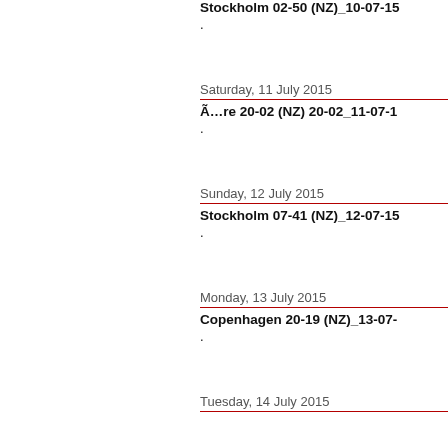Stockholm 02-50 (NZ)_10-07-15
.
Saturday, 11 July 2015
Ã…re 20-02 (NZ) 20-02_11-07-1
.
Sunday, 12 July 2015
Stockholm 07-41 (NZ)_12-07-15
.
Monday, 13 July 2015
Copenhagen 20-19 (NZ)_13-07-
.
Tuesday, 14 July 2015